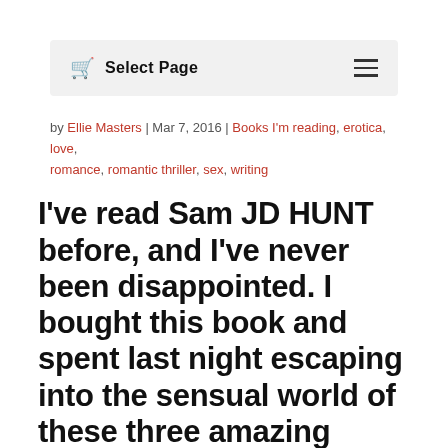Select Page
by Ellie Masters | Mar 7, 2016 | Books I'm reading, erotica, love, romance, romantic thriller, sex, writing
I've read Sam JD HUNT before, and I've never been disappointed. I bought this book and spent last night escaping into the sensual world of these three amazing people. This is not your usual love story. It's three…no four (!) stories in…